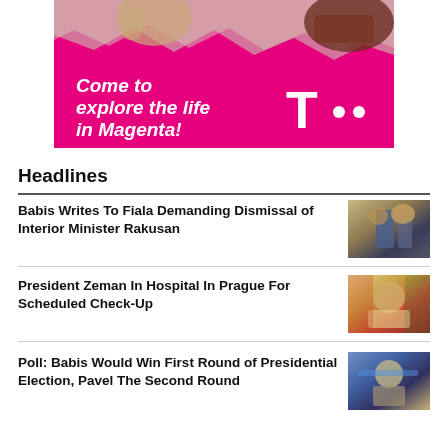[Figure (illustration): T-Mobile advertisement banner in magenta/pink color with text 'Come to explore the life in Magenta!' and T-Mobile T logo with dots]
Headlines
Babis Writes To Fiala Demanding Dismissal of Interior Minister Rakusan
President Zeman In Hospital In Prague For Scheduled Check-Up
Poll: Babis Would Win First Round of Presidential Election, Pavel The Second Round